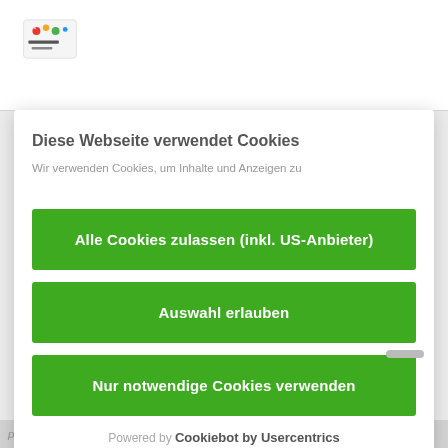[Figure (logo): Colorful website logo with text in top-left corner of page header]
Diese Webseite verwendet Cookies
Wir verwenden Cookies, um Inhalte und Anzeigen zu ...
Alle Cookies zulassen (inkl. US-Anbieter)
Auswahl erlauben
Nur notwendige Cookies verwenden
Powered by Cookiebot by Usercentrics
panorama and numerous (circular) hiking trails with